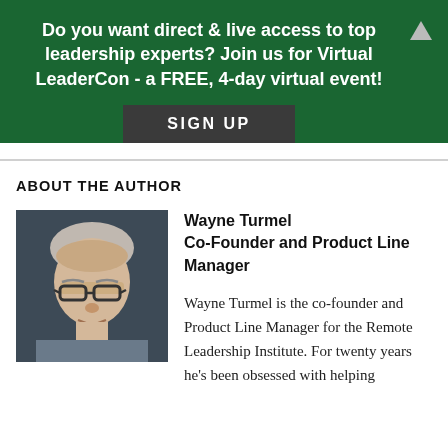Do you want direct & live access to top leadership experts? Join us for Virtual LeaderCon - a FREE, 4-day virtual event!
SIGN UP
ABOUT THE AUTHOR
[Figure (photo): Headshot of Wayne Turmel, a middle-aged man with short grey hair and glasses, against a dark background.]
Wayne Turmel
Co-Founder and Product Line Manager
Wayne Turmel is the co-founder and Product Line Manager for the Remote Leadership Institute. For twenty years he's been obsessed with helping